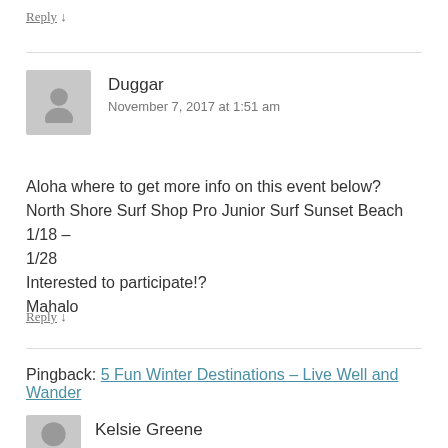Reply ↓
[Figure (illustration): Grey avatar placeholder image for user Duggar]
Duggar
November 7, 2017 at 1:51 am
Aloha where to get more info on this event below?
North Shore Surf Shop Pro Junior Surf Sunset Beach 1/18 – 1/28
Interested to participate!?
Mahalo
Reply ↓
Pingback: 5 Fun Winter Destinations – Live Well and Wander
[Figure (illustration): Grey avatar placeholder image for user Kelsie Greene]
Kelsie Greene